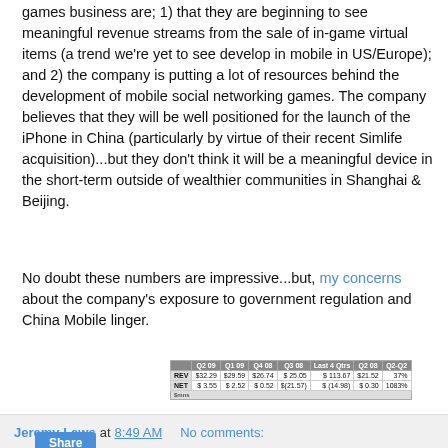games business are; 1) that they are beginning to see meaningful revenue streams from the sale of in-game virtual items (a trend we're yet to see develop in mobile in US/Europe); and 2) the company is putting a lot of resources behind the development of mobile social networking games. The company believes that they will be well positioned for the launch of the iPhone in China (particularly by virtue of their recent Simlife acquisition)...but they don't think it will be a meaningful device in the short-term outside of wealthier communities in Shanghai & Beijing.
No doubt these numbers are impressive...but, my concerns about the company's exposure to government regulation and China Mobile linger.
|  | Q2 09 | Q1 09 | Q4 08 | Q3 08 | Last 4 Qtrs | Q2 08 | Q2-Q2 |
| --- | --- | --- | --- | --- | --- | --- | --- |
| REV | $32.29 | $29.59 | $26.74 | $ 25.05 | $ 113.67 | $21.52 | 37% |
| NET | $ 3.55 | $ 2.52 | $ 0.52 | $(21.57) | $ (14.98) | $ 0.30 | 1083% |
|  | $mns |  |  |  |  |  |  |
Jeremy Laws at 8:49 AM    No comments:
Share